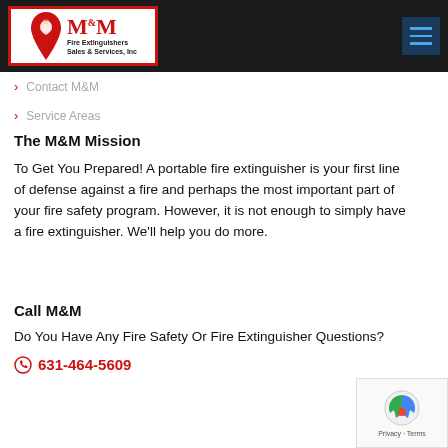[Figure (logo): M&M Fire Extinguishers Sales & Services, Inc logo with red shield/flame icon]
Contact M&M
Service Areas
The M&M Mission
To Get You Prepared! A portable fire extinguisher is your first line of defense against a fire and perhaps the most important part of your fire safety program. However, it is not enough to simply have a fire extinguisher. We'll help you do more.
Call M&M
Do You Have Any Fire Safety Or Fire Extinguisher Questions?
631-464-5609